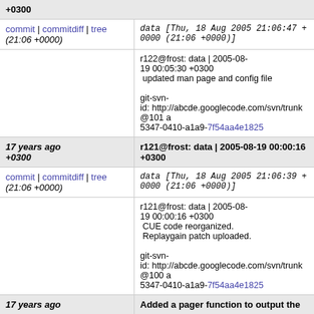+0300
commit | commitdiff | tree  data [Thu, 18 Aug 2005 21:06:47 +0000 (21:06 +0000)]
r122@frost: data | 2005-08-19 00:05:30 +0300 updated man page and config file

git-svn-id: http://abcde.googlecode.com/svn/trunk@101 a5347-0410-a1a9-7f54aa4e1825
17 years ago +0300   r121@frost: data | 2005-08-19 00:00:16 +0300
commit | commitdiff | tree  data [Thu, 18 Aug 2005 21:06:39 +0000 (21:06 +0000)]
r121@frost: data | 2005-08-19 00:00:16 +0300
 CUE code reorganized.
 Replaygain patch uploaded.

git-svn-id: http://abcde.googlecode.com/svn/trunk@100 a5347-0410-a1a9-7f54aa4e1825
17 years ago   Added a pager function to output the